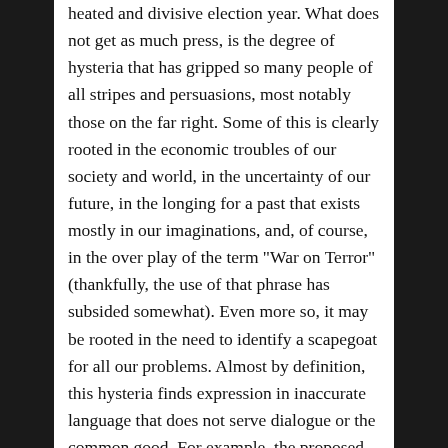heated and divisive election year. What does not get as much press, is the degree of hysteria that has gripped so many people of all stripes and persuasions, most notably those on the far right. Some of this is clearly rooted in the economic troubles of our society and world, in the uncertainty of our future, in the longing for a past that exists mostly in our imaginations, and, of course, in the over play of the term "War on Terror" (thankfully, the use of that phrase has subsided somewhat). Even more so, it may be rooted in the need to identify a scapegoat for all our problems. Almost by definition, this hysteria finds expression in inaccurate language that does not serve dialogue or the common good. For example, the proposed construction of a mosque in lower Manhattan has been incorrectly referred to as the "Ground Zero Mosque" or "WTC Mosque." Such terminology is anything but innocent, especially since the mosque is slated for construction blocks